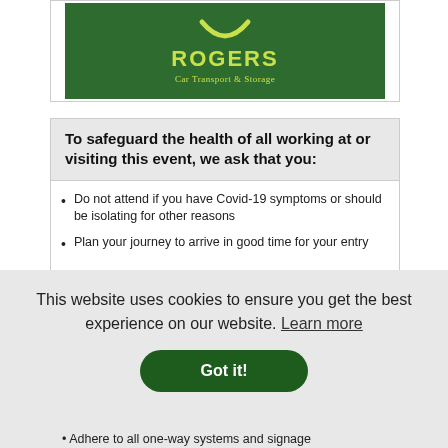[Figure (logo): Rogers Car Transport & Storage logo — dark green background with yellow smile arc, yellow bold text ROGERS, and yellow serif subtitle Car Transport & Storage]
To safeguard the health of all working at or visiting this event, we ask that you:
Do not attend if you have Covid-19 symptoms or should be isolating for other reasons
Plan your journey to arrive in good time for your entry
This website uses cookies to ensure you get the best experience on our website. Learn more
Got it!
Adhere to all one-way systems and signage